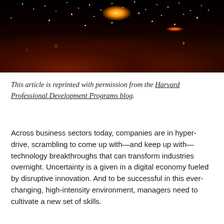[Figure (photo): Night photo of people releasing sky lanterns into a dark sky filled with glowing lights and stars. Hands are raised silhouetted against warm reddish-orange light.]
This article is reprinted with permission from the Harvard Professional Development Programs blog.
Across business sectors today, companies are in hyper-drive, scrambling to come up with—and keep up with—technology breakthroughs that can transform industries overnight. Uncertainty is a given in a digital economy fueled by disruptive innovation. And to be successful in this ever-changing, high-intensity environment, managers need to cultivate a new set of skills.